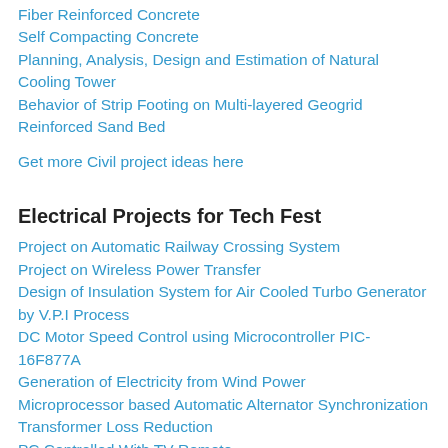Fiber Reinforced Concrete
Self Compacting Concrete
Planning, Analysis, Design and Estimation of Natural Cooling Tower
Behavior of Strip Footing on Multi-layered Geogrid Reinforced Sand Bed
Get more Civil project ideas here
Electrical Projects for Tech Fest
Project on Automatic Railway Crossing System
Project on Wireless Power Transfer
Design of Insulation System for Air Cooled Turbo Generator by V.P.I Process
DC Motor Speed Control using Microcontroller PIC-16F877A
Generation of Electricity from Wind Power
Microprocessor based Automatic Alternator Synchronization
Transformer Loss Reduction
PC Controlled With TV Remote
Automatic Water Pump Control System